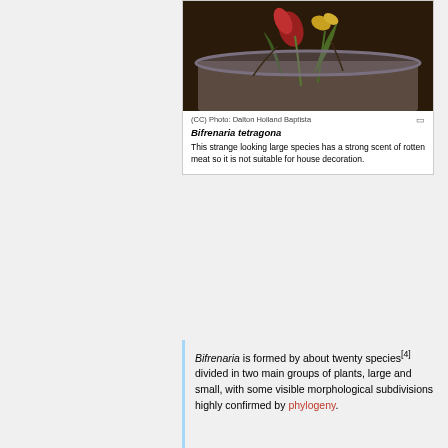[Figure (photo): Photo of Bifrenaria tetragona plant in a pot, showing reddish and yellowish flowers/buds against dark substrate. Dark bowl/pot visible at bottom. Credit: (CC) Photo: Dalton Holland Baptista.]
(CC) Photo: Dalton Holland Baptista
Bifrenaria tetragona
This strange looking large species has a strong scent of rotten meat so it is not suitable for house decoration.
Bifrenaria is formed by about twenty species[4] divided in two main groups of plants, large and small, with some visible morphological subdivisions highly confirmed by phylogeny.
Large species: is the group originally classified as Bifrenaria. They present four sided pseudobulbs, with relatively short and erect inflorescence bearing up to ten fleshy large flowers but generally less. Usually the flowers are grouped and are fragrant or exhale strong scent. The labellum has three or four lobes and